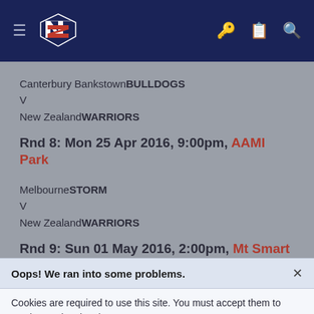[Figure (logo): NZ Warriors navigation bar with hamburger menu, NZ Warriors logo, key icon, clipboard icon, and search icon on dark navy background]
Canterbury BankstownBULLDOGS
V
New ZealandWARRIORS
Rnd 8: Mon 25 Apr 2016, 9:00pm, AAMI Park
MelbourneSTORM
V
New ZealandWARRIORS
Rnd 9: Sun 01 May 2016, 2:00pm, Mt Smart Stadium
Oops! We ran into some problems.
Cookies are required to use this site. You must accept them to continue using the site.